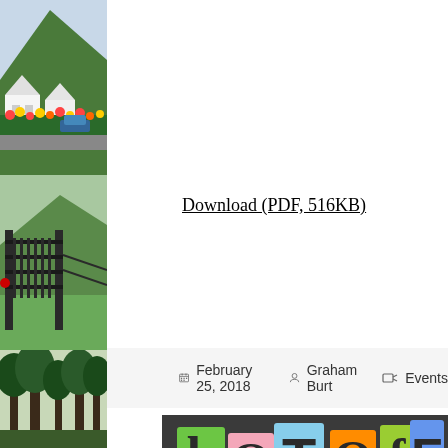[Figure (photo): Left sidebar with three stacked photos: top - white houses with green hillside and colorful flowers; middle - green hillside with iron gate; bottom - trees]
Download (PDF, 516KB)
February 25, 2018   Graham Burt   Events
[Figure (photo): Hot off the press - colorful ransom-note style letters on dark background spelling 'hot off the press']